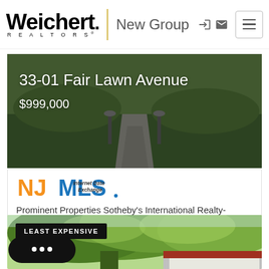[Figure (logo): Weichert Realtors New Group logo with yellow divider bar]
[Figure (photo): Aerial view of paved walkway through green lawn with lamp posts]
33-01 Fair Lawn Avenue
$999,000
[Figure (logo): NJMLS Internet Data Exchange logo in orange/blue]
Prominent Properties Sotheby's International Realty-Tenafly
[Figure (photo): Tree-lined property photo with red roof visible below green canopy, labeled LEAST EXPENSIVE]